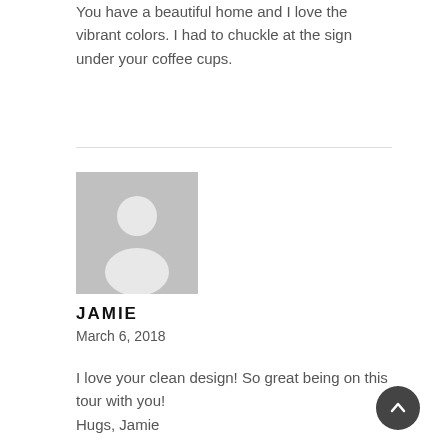You have a beautiful home and I love the vibrant colors. I had to chuckle at the sign under your coffee cups.
[Figure (illustration): Gray placeholder avatar icon showing a silhouette of a person (head and shoulders) on a gray background square]
JAMIE
March 6, 2018
I love your clean design! So great being on this tour with you!
Hugs, Jamie